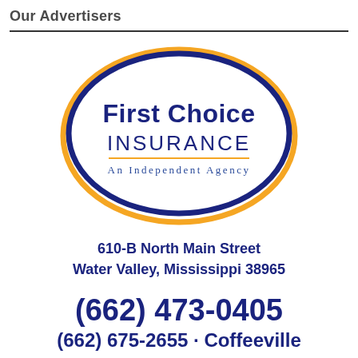Our Advertisers
[Figure (logo): First Choice Insurance logo — an oval shape with a dark blue upper arc and a gold lower arc, containing the text 'First Choice Insurance' in dark navy blue bold lettering and 'An Independent Agency' in smaller blue spaced lettering below a gold underline.]
610-B North Main Street
Water Valley, Mississippi 38965
(662) 473-0405
(662) 675-2655 · Coffeeville